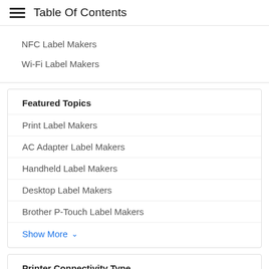Table Of Contents
NFC Label Makers
Wi-Fi Label Makers
Featured Topics
Print Label Makers
AC Adapter Label Makers
Handheld Label Makers
Desktop Label Makers
Brother P-Touch Label Makers
Show More
Printer Connectivity Type